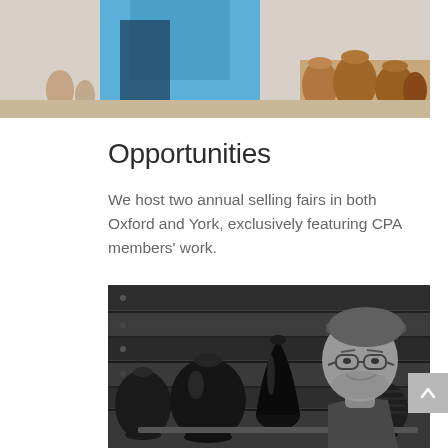[Figure (photo): Top portion of a photo showing a person in a blue t-shirt at a pottery fair, with ceramic pots visible in the background on the right side.]
Opportunities
We host two annual selling fairs in both Oxford and York, exclusively featuring CPA members' work.
[Figure (photo): Black and white photo of a smiling bearded man wearing a cap and glasses, holding a tray with dark pottery vases displayed in front of a wooden backdrop.]